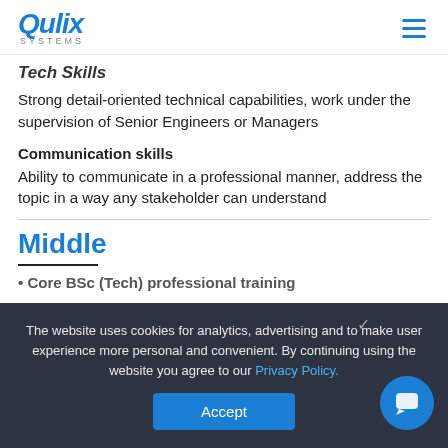Qulix Systems
Tech Skills
Strong detail-oriented technical capabilities, work under the supervision of Senior Engineers or Managers
Communication skills
Ability to communicate in a professional manner, address the topic in a way any stakeholder can understand
Middle
• Core BSc (Tech) professional training
The website uses cookies for analytics, advertising and to make user experience more personal and convenient. By continuing using the website you agree to our Privacy Policy.